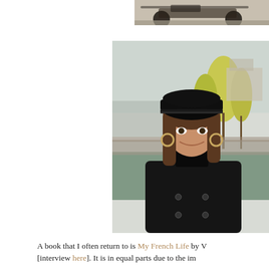[Figure (photo): Partial view of a motorcycle or scooter, black and white/sepia tone, cropped at top of page]
[Figure (photo): Woman wearing a black velvet newsboy cap and black coat, smiling, standing in front of the Seine river in Paris with trees and buildings in the background]
A book that I often return to is My French Life by V [interview here]. It is in equal parts due to the im